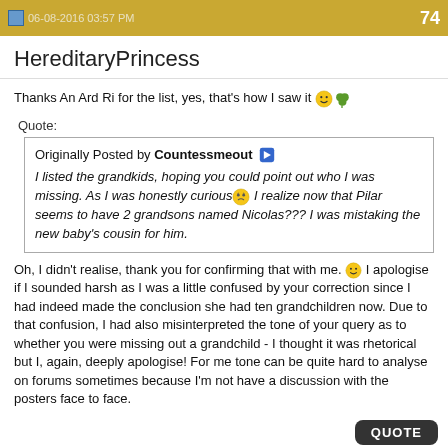06-08-2016 03:57 PM  74
HereditaryPrincess
Thanks An Ard Ri for the list, yes, that's how I saw it 🙂🌿
Quote:
Originally Posted by Countessmeout ▶
I listed the grandkids, hoping you could point out who I was missing. As I was honestly curious😵 I realize now that Pilar seems to have 2 grandsons named Nicolas??? I was mistaking the new baby's cousin for him.
Oh, I didn't realise, thank you for confirming that with me. 🙂 I apologise if I sounded harsh as I was a little confused by your correction since I had indeed made the conclusion she had ten grandchildren now. Due to that confusion, I had also misinterpreted the tone of your query as to whether you were missing out a grandchild - I thought it was rhetorical but I, again, deeply apologise! For me tone can be quite hard to analyse on forums sometimes because I'm not have a discussion with the posters face to face.